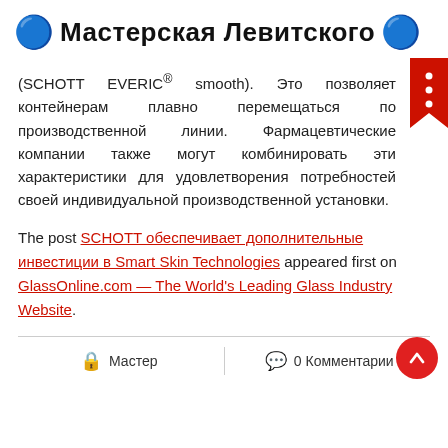🔵 Мастерская Левитского 🔵
(SCHOTT EVERIC® smooth). Это позволяет контейнерам плавно перемещаться по производственной линии. Фармацевтические компании также могут комбинировать эти характеристики для удовлетворения потребностей своей индивидуальной производственной установки.
The post SCHOTT обеспечивает дополнительные инвестиции в Smart Skin Technologies appeared first on GlassOnline.com — The World's Leading Glass Industry Website.
🔒 Мастер | 💬 0 Комментарии